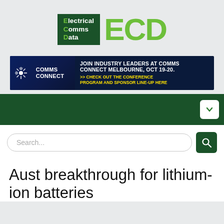[Figure (logo): ECD Electrical Comms Data logo with dark green box on left and large green ECD letters on right]
[Figure (infographic): Comms Connect Melbourne advertisement banner: JOIN INDUSTRY LEADERS AT COMMS CONNECT MELBOURNE, OCT 19-20. >> CHECK OUT THE CONFERENCE PROGRAM AND SPONSOR LINE-UP HERE]
[Figure (screenshot): Dark green navigation bar with white dropdown chevron button on right]
[Figure (screenshot): Search input box with placeholder text Search... and green search button]
Aust breakthrough for lithium-ion batteries